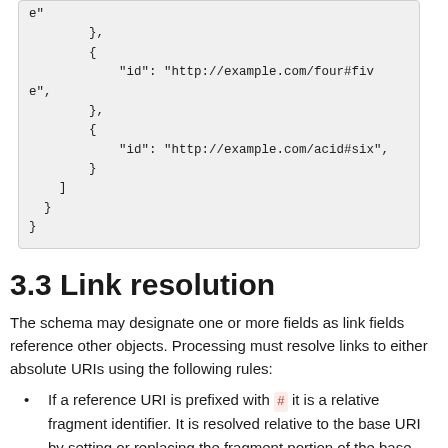[Figure (other): Code block showing JSON with id fields: http://example.com/four#five and http://example.com/acid#six, with closing brackets and braces]
3.3 Link resolution
The schema may designate one or more fields as link fields reference other objects. Processing must resolve links to either absolute URIs using the following rules:
If a reference URI is prefixed with # it is a relative fragment identifier. It is resolved relative to the base URI by setting or replacing the fragment portion of the base URI.